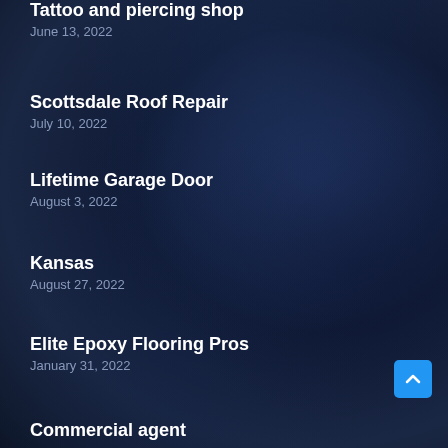Tattoo and piercing shop
June 13, 2022
Scottsdale Roof Repair
July 10, 2022
Lifetime Garage Door
August 3, 2022
Kansas
August 27, 2022
Elite Epoxy Flooring Pros
January 31, 2022
Commercial agent